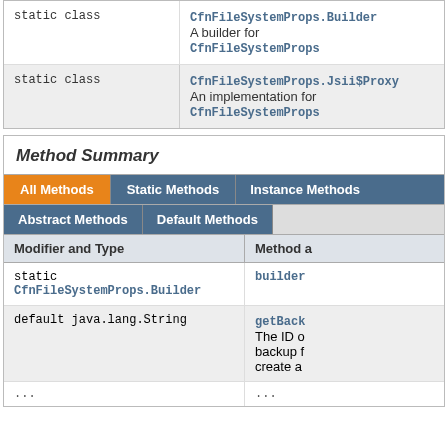| Modifier and Type | Class and Description |
| --- | --- |
| static class | CfnFileSystemProps.Builder
A builder for CfnFileSystemProps |
| static class | CfnFileSystemProps.Jsii$Proxy
An implementation for CfnFileSystemProps |
Method Summary
| Modifier and Type | Method and Description |
| --- | --- |
| static CfnFileSystemProps.Builder | builder |
| default java.lang.String | getBack...
The ID of... backup f... create a... |
| ... | ... |